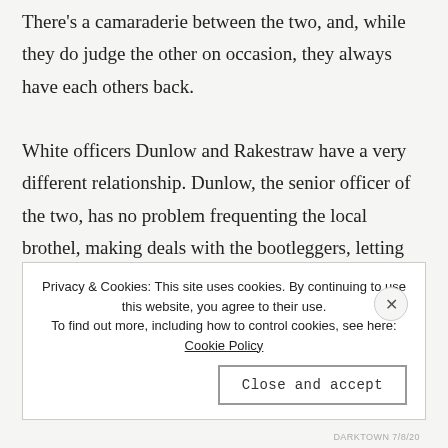There's a camaraderie between the two, and, while they do judge the other on occasion, they always have each others back.

White officers Dunlow and Rakestraw have a very different relationship. Dunlow, the senior officer of the two, has no problem frequenting the local brothel, making deals with the bootleggers, letting people off the hook, and beating black men in Darktown for no reason. Rakestraw, not yet seasoned, disagrees with the way Dunlow polices. Unlike Dunlow and
Privacy & Cookies: This site uses cookies. By continuing to use this website, you agree to their use.
To find out more, including how to control cookies, see here: Cookie Policy
Close and accept
DARKTOWN 7/8/20